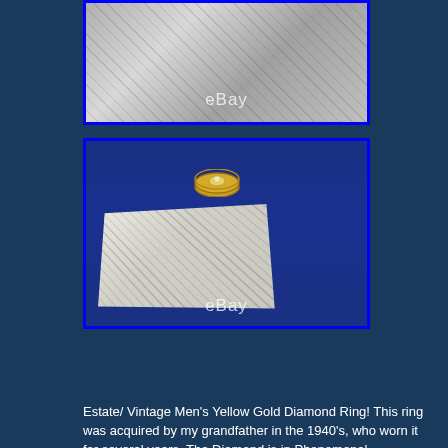[Figure (photo): Top photo showing a white distressed wooden surface with eBay watermark]
[Figure (photo): Main photo showing a gold diamond ring resting on top of a white distressed wooden box against a blue background, with eBay watermark]
View on eBay
Estate/ Vintage Men's Yellow Gold Diamond Ring! This ring was acquired by my grandfather in the 1940's, who worn it for several years. The Diamond is in Phenomenal